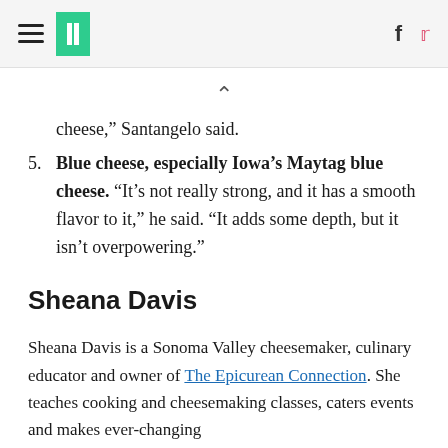HuffPost navigation and social icons
cheese,” Santangelo said.
5. Blue cheese, especially Iowa’s Maytag blue cheese. “It’s not really strong, and it has a smooth flavor to it,” he said. “It adds some depth, but it isn’t overpowering.”
Sheana Davis
Sheana Davis is a Sonoma Valley cheesemaker, culinary educator and owner of The Epicurean Connection. She teaches cooking and cheesemaking classes, caters events and makes ever-changing